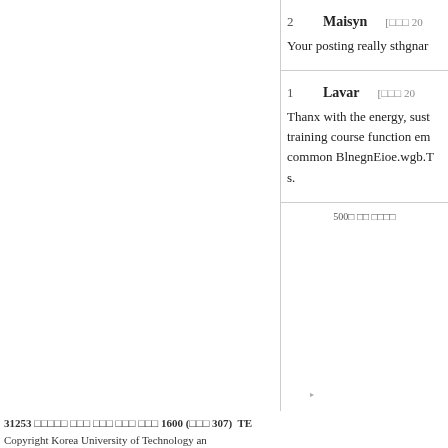| # | Name | Date |
| --- | --- | --- |
| 2 | Maisyn | [□□□ 20 |
Your posting really sthgnar...
| # | Name | Date |
| --- | --- | --- |
| 1 | Lavar | [□□□ 20 |
Thanx with the energy, sust... training course function em... common BlnegnEioe.wgb.T... s.
[Figure (screenshot): UI panel with 의견글 조사 RESEARCHE logo and play buttons with labels, sidebar showing 500□ □□ □□□□]
31253 □□□□□ □□□ □□□ □□□ □□□ 1600 (□□□ 307)  TE
Copyright Korea University of Technology an